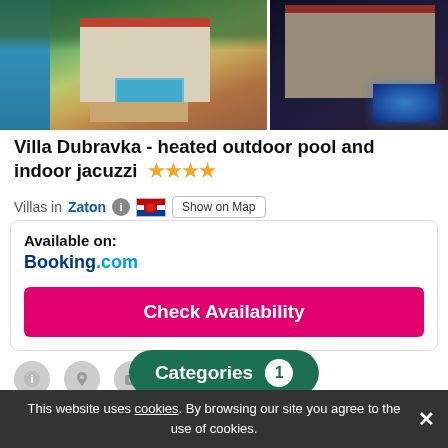[Figure (photo): Two aerial photos of Villa Dubravka showing the property with red-tiled roof, outdoor swimming pool, and waterfront location. Left photo is daytime aerial view; right photo is nighttime aerial view.]
Villa Dubravka - heated outdoor pool and indoor jacuzzi ★★★★
Villas in Zaton ℹ 🇭🇷 Show on Map
Available on:
Booking.com
Check Availability
Dog Friendly  Categories  1
This website uses cookies. By browsing our site you agree to the use of cookies.